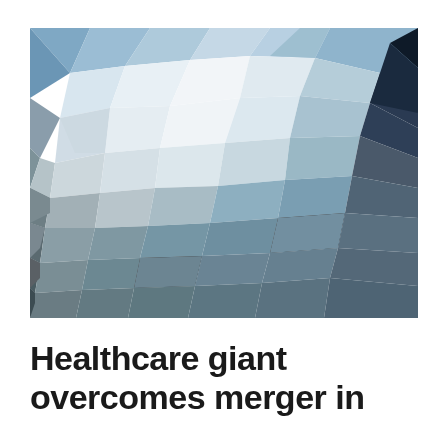[Figure (illustration): Abstract low-poly mosaic illustration in blues, grays, whites and dark tones arranged in a geometric polygon pattern suggesting a landscape or abstract composition.]
Healthcare giant overcomes merger in